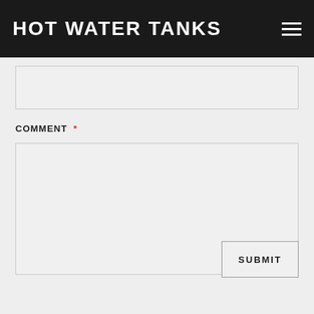HOT WATER TANKS
COMMENT *
SUBMIT